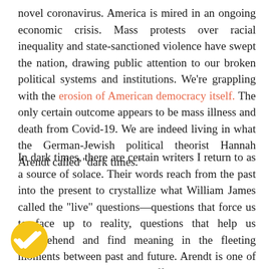novel coronavirus. America is mired in an ongoing economic crisis. Mass protests over racial inequality and state-sanctioned violence have swept the nation, drawing public attention to our broken political systems and institutions. We're grappling with the erosion of American democracy itself. The only certain outcome appears to be mass illness and death from Covid-19. We are indeed living in what the German-Jewish political theorist Hannah Arendt called “dark times.”
In dark times, there are certain writers I return to as a source of solace. Their words reach from the past into the present to crystallize what William James called the “live” questions—questions that force us to face up to reality, questions that help us comprehend and find meaning in the fleeting moments between past and future. Arendt is one of those writers, someone who offers no easy answers or overarching
[Figure (illustration): A circular gold/yellow badge with a white double-checkmark icon, partially visible at bottom-left corner of the page.]